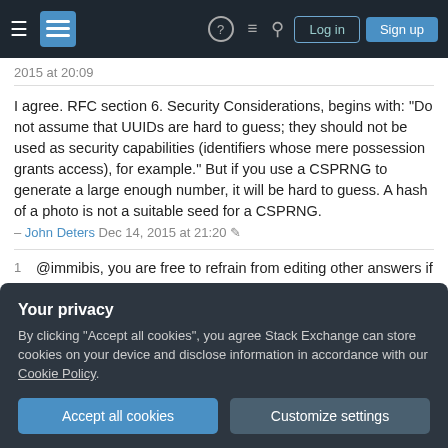Stack Exchange navigation bar with Log in and Sign up buttons
2015 at 20:09
I agree. RFC section 6. Security Considerations, begins with: "Do not assume that UUIDs are hard to guess; they should not be used as security capabilities (identifiers whose mere possession grants access), for example." But if you use a CSPRNG to generate a large enough number, it will be hard to guess. A hash of a photo is not a suitable seed for a CSPRNG. – John Deters Dec 14, 2015 at 21:20
1  @immibis, you are free to refrain from editing other answers if you prefer -- but it's not exactly Stack Exchange policy. See
Your privacy
By clicking "Accept all cookies", you agree Stack Exchange can store cookies on your device and disclose information in accordance with our Cookie Policy.
Accept all cookies  Customize settings